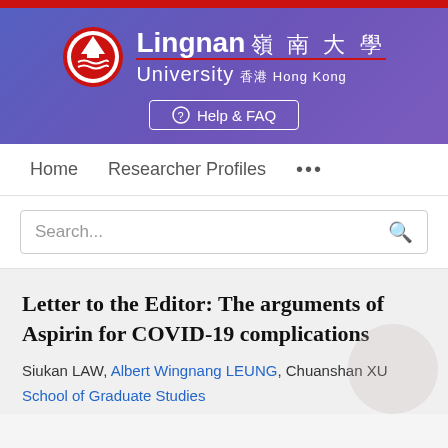[Figure (logo): Lingnan University Hong Kong logo with red circle emblem and university name in English and Chinese]
Help & FAQ
Home   Researcher Profiles   ...
Search...
Letter to the Editor: The arguments of Aspirin for COVID-19 complications
Siukan LAW, Albert Wingnang LEUNG, Chuanshan XU
School of Graduate Studies